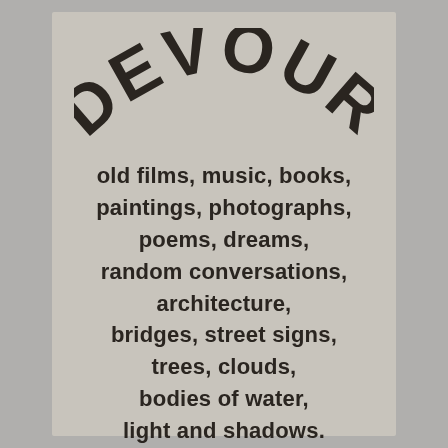DEVOUR
old films, music, books, paintings, photographs, poems, dreams, random conversations, architecture, bridges, street signs, trees, clouds, bodies of water, light and shadows.